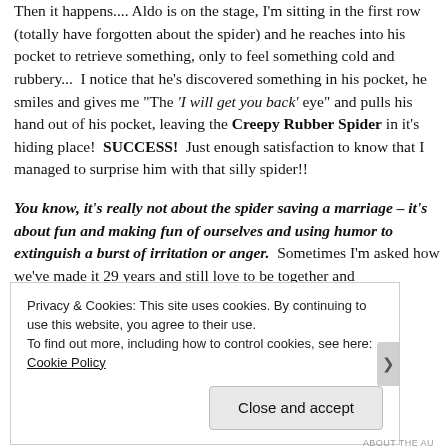Then it happens.... Aldo is on the stage, I'm sitting in the first row (totally have forgotten about the spider) and he reaches into his pocket to retrieve something, only to feel something cold and rubbery...  I notice that he's discovered something in his pocket, he smiles and gives me "The 'I will get you back' eye" and pulls his hand out of his pocket, leaving the Creepy Rubber Spider in it's hiding place!  SUCCESS!  Just enough satisfaction to know that I managed to surprise him with that silly spider!!
You know, it's really not about the spider saving a marriage – it's about fun and making fun of ourselves and using humor to extinguish a burst of irritation or anger.  Sometimes I'm asked how we've made it 29 years and still love to be together and
Privacy & Cookies: This site uses cookies. By continuing to use this website, you agree to their use.
To find out more, including how to control cookies, see here: Cookie Policy
Close and accept